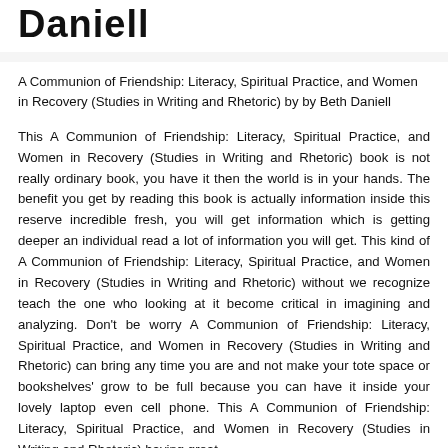Daniell
A Communion of Friendship: Literacy, Spiritual Practice, and Women in Recovery (Studies in Writing and Rhetoric) by by Beth Daniell
This A Communion of Friendship: Literacy, Spiritual Practice, and Women in Recovery (Studies in Writing and Rhetoric) book is not really ordinary book, you have it then the world is in your hands. The benefit you get by reading this book is actually information inside this reserve incredible fresh, you will get information which is getting deeper an individual read a lot of information you will get. This kind of A Communion of Friendship: Literacy, Spiritual Practice, and Women in Recovery (Studies in Writing and Rhetoric) without we recognize teach the one who looking at it become critical in imagining and analyzing. Don't be worry A Communion of Friendship: Literacy, Spiritual Practice, and Women in Recovery (Studies in Writing and Rhetoric) can bring any time you are and not make your tote space or bookshelves' grow to be full because you can have it inside your lovely laptop even cell phone. This A Communion of Friendship: Literacy, Spiritual Practice, and Women in Recovery (Studies in Writing and Rhetoric) having great